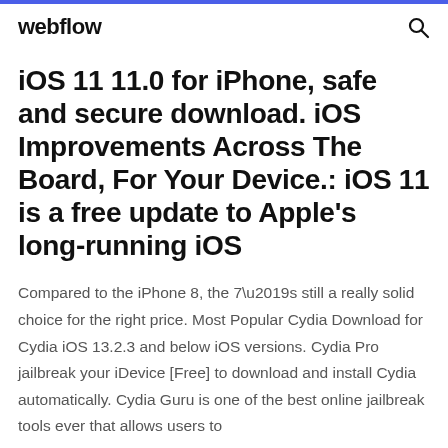webflow
iOS 11 11.0 for iPhone, safe and secure download. iOS Improvements Across The Board, For Your Device.: iOS 11 is a free update to Apple's long-running iOS
Compared to the iPhone 8, the 7’s still a really solid choice for the right price. Most Popular Cydia Download for Cydia iOS 13.2.3 and below iOS versions. Cydia Pro jailbreak your iDevice [Free] to download and install Cydia automatically. Cydia Guru is one of the best online jailbreak tools ever that allows users to